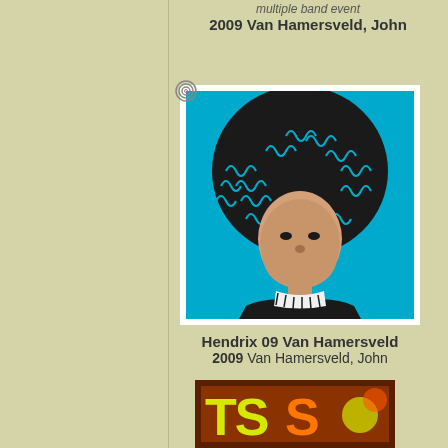multiple band event
2009 Van Hamersveld, John
[Figure (illustration): Stylized portrait of Jimi Hendrix with large afro hair in blue, black and white colors, with a spiral binding icon in the top left corner]
Hendrix 09 Van Hamersveld
2009 Van Hamersveld, John
[Figure (illustration): Partially visible colorful poster image at the bottom of the page with brown border and yellow/green/orange lettering]